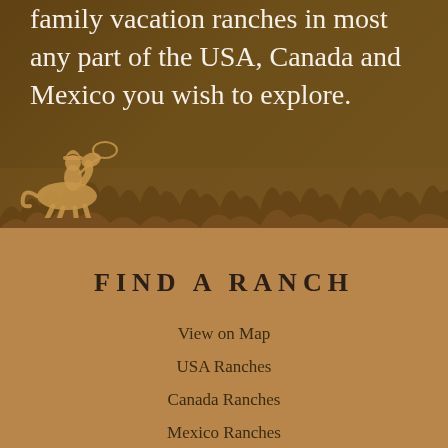family vacation ranches in most any part of the USA, Canada and Mexico you wish to explore.
[Figure (illustration): Silhouette of a cowboy on horseback with lasso against a brown grassy background with darker brown overlay. Decorative scene with grass/field textures.]
FIND A RANCH
View on Map
USA Ranches
Canada Ranches
Mexico Ranches